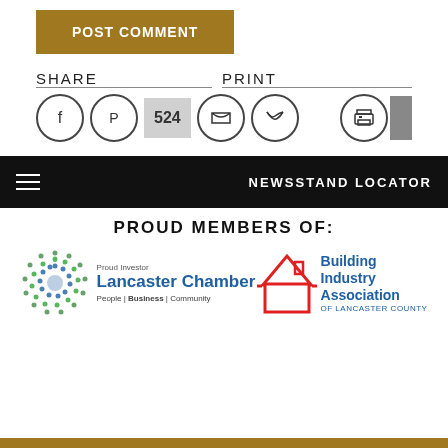[Figure (other): POST COMMENT button in brown/gold color]
SHARE
PRINT
[Figure (other): Social share icons: Facebook, Pinterest, share count 524, Twitter, Email, and Print icon]
[Figure (other): Navigation bar with hamburger menu and NEWSSTAND LOCATOR text]
PROUD MEMBERS OF:
[Figure (logo): Lancaster Chamber logo - Proud Investor, People | Business | Community]
[Figure (logo): Building Industry Association of Lancaster County logo]